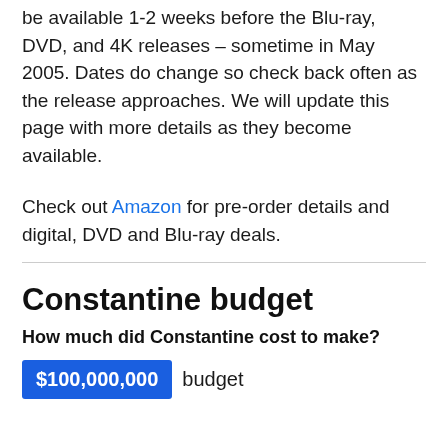be available 1-2 weeks before the Blu-ray, DVD, and 4K releases – sometime in May 2005. Dates do change so check back often as the release approaches. We will update this page with more details as they become available.
Check out Amazon for pre-order details and digital, DVD and Blu-ray deals.
Constantine budget
How much did Constantine cost to make?
$100,000,000 budget